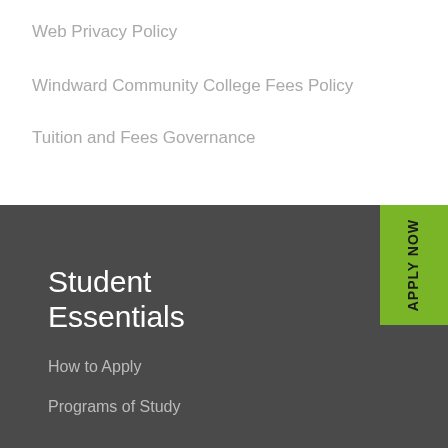Web Privacy Policy
Windward Community College Fees Policy
Tuition and Fees Governance
Student Essentials
How to Apply
Programs of Study